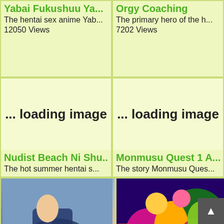Yabai Fukushuu Ya...
The hentai sex anime Yab...
12050 Views
Orgy Coaching
The primary hero of the h...
7202 Views
[Figure (illustration): Loading image placeholder - left cell]
Nudist Beach Ni Shu...
The hot summer hentai s...
[Figure (illustration): Loading image placeholder - right cell]
Monmusu Quest 1 A...
The story Monmusu Ques...
[Figure (illustration): Anime illustration - schoolgirl scene]
Virgin Hentai Sex Sc...
The virgin hentai sex sch...
[Figure (illustration): Anime illustration - colorful characters]
Majuu Jouka Shoujo...
Two lovely busty schoolgi...